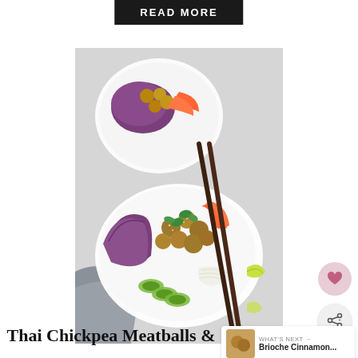READ MORE
[Figure (photo): Overhead shot of Thai chickpea meatball bowls with purple cabbage, carrots, cucumber slices, rice noodles, fresh mint leaves, lime wedges, and chopsticks resting across the bowl. Two bowls visible, shot from above on a light gray surface with a gray linen napkin.]
Thai Chickpea Meatballs &